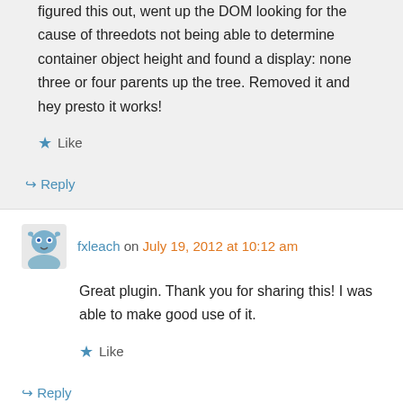figured this out, went up the DOM looking for the cause of threedots not being able to determine container object height and found a display: none three or four parents up the tree. Removed it and hey presto it works!
Like
Reply
fxleach on July 19, 2012 at 10:12 am
Great plugin. Thank you for sharing this! I was able to make good use of it.
Like
Reply